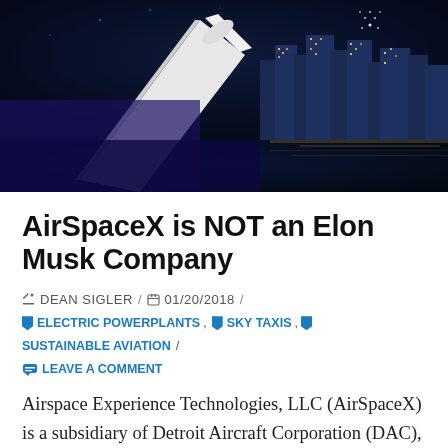[Figure (photo): Night cityscape with an aircraft or spacecraft in the foreground; city lights reflecting on water with tall buildings lit up in the background]
AirSpaceX is NOT an Elon Musk Company
✏ DEAN SIGLER / 📅 01/20/2018 /
🔖 ELECTRIC POWERPLANTS , 🔖 SKY TAXIS , 🔖 SUSTAINABLE AVIATION /
💬 LEAVE A COMMENT
Airspace Experience Technologies, LLC (AirSpaceX) is a subsidiary of Detroit Aircraft Corporation (DAC), and as far as this editor knows, not related to Elon Musk's SpaceX. A little closer to earth, the